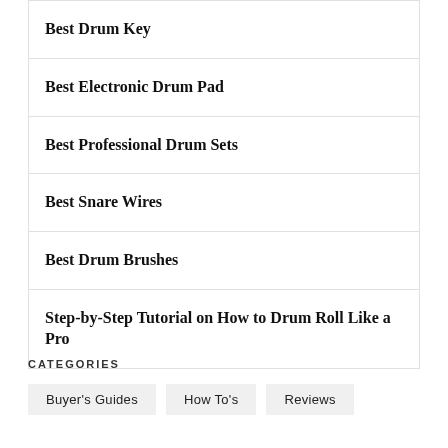Best Drum Key
Best Electronic Drum Pad
Best Professional Drum Sets
Best Snare Wires
Best Drum Brushes
Step-by-Step Tutorial on How to Drum Roll Like a Pro
CATEGORIES
Buyer's Guides
How To's
Reviews